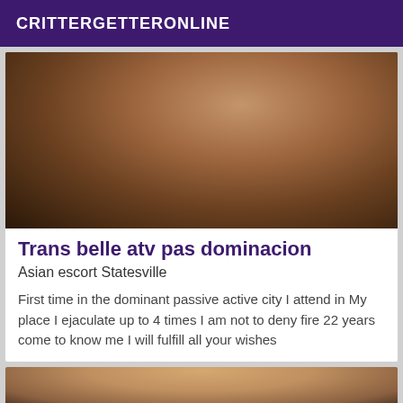CRITTERGETTERONLINE
[Figure (photo): Photo of a tattooed person posing, wearing black underwear, with tattoos visible on arms and torso, standing against a teal/green background]
Trans belle atv pas dominacion
Asian escort Statesville
First time in the dominant passive active city I attend in My place I ejaculate up to 4 times I am not to deny fire 22 years come to know me I will fulfill all your wishes
[Figure (photo): Partial photo of a person with reddish-brown hair, cropped at bottom of page]